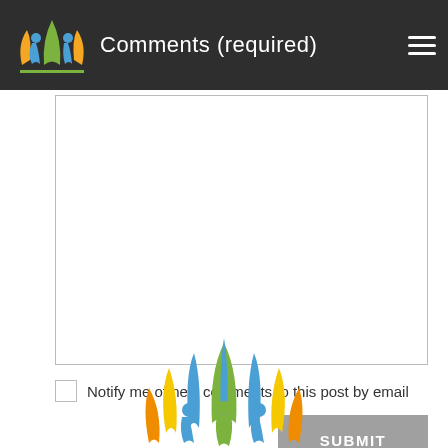Comments (required)
Notify me of new comments to this post by email
SUBMIT
[Figure (logo): Colorful community/wellness logo with stylized people figures and leaves in blue, green, yellow, orange colors]